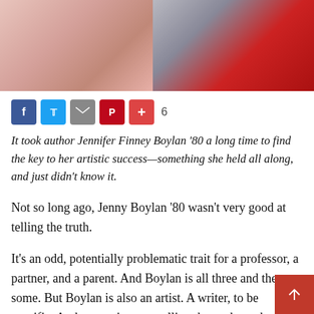[Figure (photo): Two-panel photo strip at top: left panel shows a pinkish illustrated or painted figure, right panel shows a woman in a black top against a red background]
It took author Jennifer Finney Boylan '80 a long time to find the key to her artistic success—something she held all along, and just didn't know it.
Not so long ago, Jenny Boylan '80 wasn't very good at telling the truth.
It's an odd, potentially problematic trait for a professor, a partner, and a parent. And Boylan is all three and then some. But Boylan is also an artist. A writer, to be specific. And as a writer, not telling the truth can be a great asset. The use of dramatic